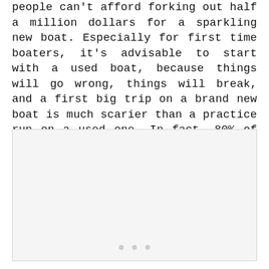people can't afford forking out half a million dollars for a sparkling new boat. Especially for first time boaters, it's advisable to start with a used boat, because things will go wrong, things will break, and a first big trip on a brand new boat is much scarier than a practice run on a used one. In fact, 80% of boat owners own a used boat, not a new one.
[Figure (photo): A light gray placeholder image box with three small gray dots at the bottom center, indicating an image carousel or placeholder.]